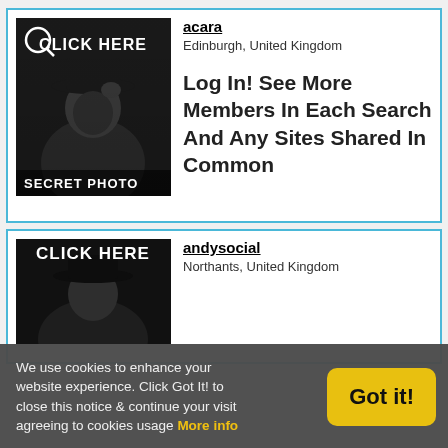[Figure (screenshot): Profile card for user 'acara' showing a secret photo with a man in a hat and 'CLICK HERE' overlay text and 'SECRET PHOTO' label, with username, location Edinburgh United Kingdom, and promotional text]
acara
Edinburgh, United Kingdom
Log In! See More Members In Each Search And Any Sites Shared In Common
[Figure (screenshot): Profile card for user 'andysocial' showing a photo with a man in a hat and 'CLICK HERE' overlay, with username and location Northants United Kingdom]
andysocial
Northants, United Kingdom
We use cookies to enhance your website experience. Click Got It! to close this notice & continue your visit agreeing to cookies usage More info
Got it!